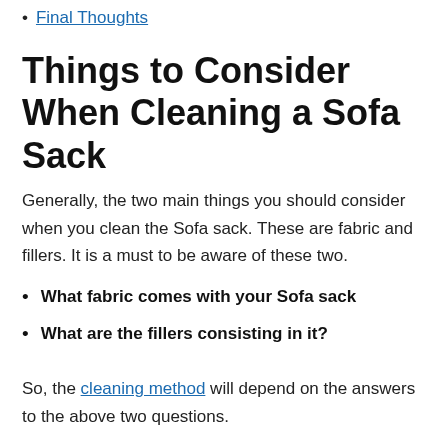Final Thoughts
Things to Consider When Cleaning a Sofa Sack
Generally, the two main things you should consider when you clean the Sofa sack. These are fabric and fillers. It is a must to be aware of these two.
What fabric comes with your Sofa sack
What are the fillers consisting in it?
So, the cleaning method will depend on the answers to the above two questions.